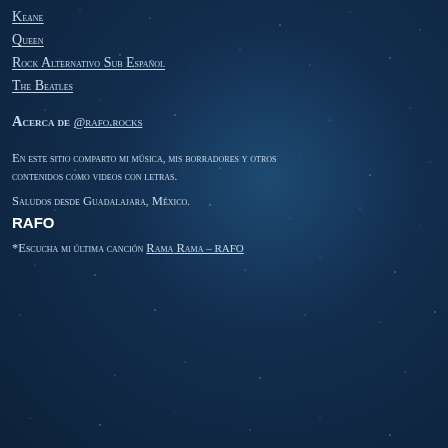Keane
Queen
Rock Alternativo Sub Español
The Beatles
Acerca de @rafo.rocks
En este sitio comparto mi música, mis borradores y otros contenidos como videos con letras.
Saludos desde Guadalajara, México.
RAFO
*Escucha mi última canción Rama Rama – RAFO